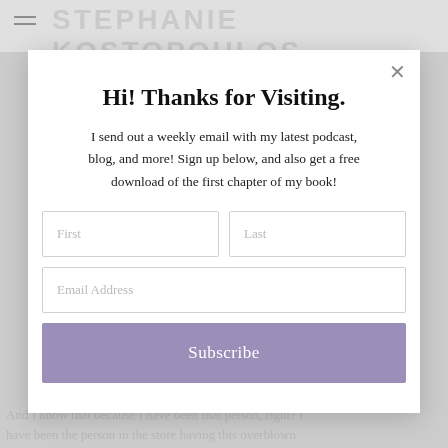STEPHANIE KOSTOPOULOS
Hi! Thanks for Visiting.
I send out a weekly email with my latest podcast, blog, and more! Sign up below, and also get a free download of the first chapter of my book!
First | Last | Email Address | Subscribe
And I know that because I have been that person, right? I have been the person in the store having this overblown